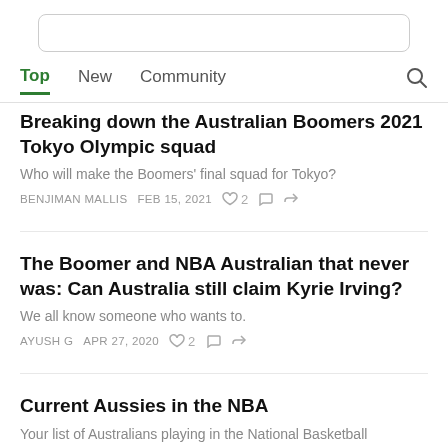[Figure (screenshot): Search input box at the top of the page]
Top   New   Community
Breaking down the Australian Boomers 2021 Tokyo Olympic squad
Who will make the Boomers' final squad for Tokyo?
BENJIMAN MALLIS   FEB 15, 2021   ♡ 2   💬   ↪
The Boomer and NBA Australian that never was: Can Australia still claim Kyrie Irving?
We all know someone who wants to.
AYUSH G   APR 27, 2020   ♡ 2   💬   ↪
Current Aussies in the NBA
Your list of Australians playing in the National Basketball